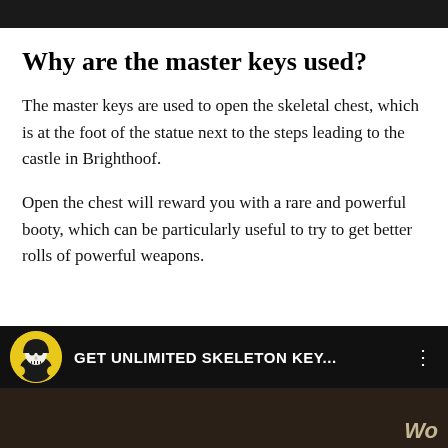Why are the master keys used?
The master keys are used to open the skeletal chest, which is at the foot of the statue next to the steps leading to the castle in Brighthoof.
Open the chest will reward you with a rare and powerful booty, which can be particularly useful to try to get better rolls of powerful weapons.
[Figure (screenshot): YouTube video card with dark background showing a skeleton character icon and title 'GET UNLIMITED SKELETON KEY...' with a three-dot menu icon, and a dark video preview below.]